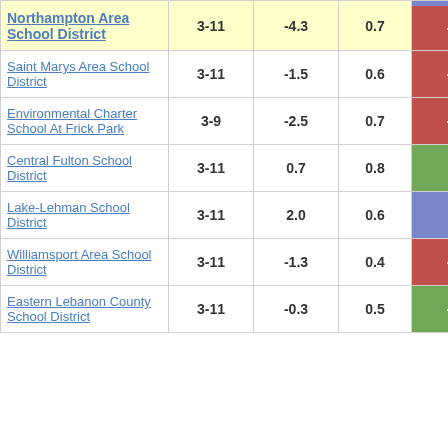| District | Grades | Col3 | Col4 | Score |
| --- | --- | --- | --- | --- |
| Northampton Area School District | 3-11 | -4.3 | 0.7 | -6.25 |
| Saint Marys Area School District | 3-11 | -1.5 | 0.6 | -2.64 |
| Environmental Charter School At Frick Park | 3-9 | -2.5 | 0.7 | -3.49 |
| Central Fulton School District | 3-11 | 0.7 | 0.8 | 0.95 |
| Lake-Lehman School District | 3-11 | 2.0 | 0.6 | 3.41 |
| Williamsport Area School District | 3-11 | -1.3 | 0.4 | -3.63 |
| Eastern Lebanon County School District | 3-11 | -0.3 | 0.5 | -0.57 |